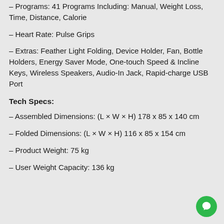– Programs: 41 Programs Including: Manual, Weight Loss, Time, Distance, Calorie
– Heart Rate: Pulse Grips
– Extras: Feather Light Folding, Device Holder, Fan, Bottle Holders, Energy Saver Mode, One-touch Speed & Incline Keys, Wireless Speakers, Audio-In Jack, Rapid-charge USB Port
Tech Specs:
– Assembled Dimensions: (L × W × H) 178 x 85 x 140 cm
– Folded Dimensions: (L × W × H) 116 x 85 x 154 cm
– Product Weight: 75 kg
– User Weight Capacity: 136 kg